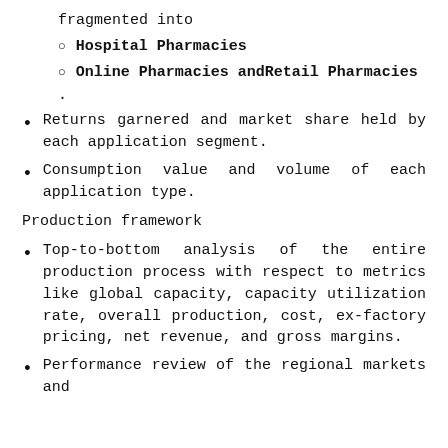fragmented into
Hospital Pharmacies
Online Pharmacies andRetail Pharmacies
.
Returns garnered and market share held by each application segment.
Consumption value and volume of each application type.
Production framework
Top-to-bottom analysis of the entire production process with respect to metrics like global capacity, capacity utilization rate, overall production, cost, ex-factory pricing, net revenue, and gross margins.
Performance review of the regional markets and